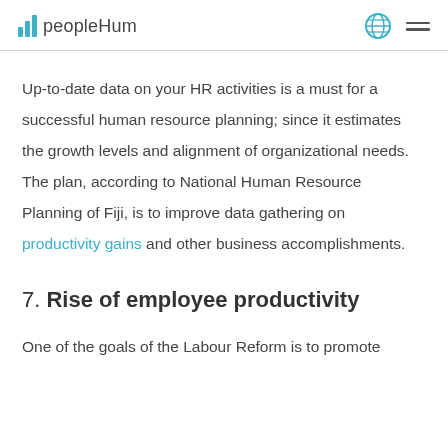peopleHum
Up-to-date data on your HR activities is a must for a successful human resource planning; since it estimates the growth levels and alignment of organizational needs. The plan, according to National Human Resource Planning of Fiji, is to improve data gathering on productivity gains and other business accomplishments.
7. Rise of employee productivity
One of the goals of the Labour Reform is to promote